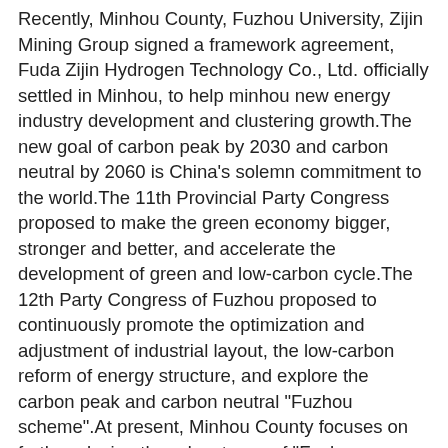Recently, Minhou County, Fuzhou University, Zijin Mining Group signed a framework agreement, Fuda Zijin Hydrogen Technology Co., Ltd. officially settled in Minhou, to help minhou new energy industry development and clustering growth.The new goal of carbon peak by 2030 and carbon neutral by 2060 is China's solemn commitment to the world.The 11th Provincial Party Congress proposed to make the green economy bigger, stronger and better, and accelerate the development of green and low-carbon cycle.The 12th Party Congress of Fuzhou proposed to continuously promote the optimization and adjustment of industrial layout, the low-carbon reform of energy structure, and explore the carbon peak and carbon neutral "Fuzhou scheme".At present, Minhou County focuses on further playing the advantages of "Fuzhou University City", increasing support for new energy innovation research and development, strengthening strategic investment cooperation of new energy vehicles, and making all-out